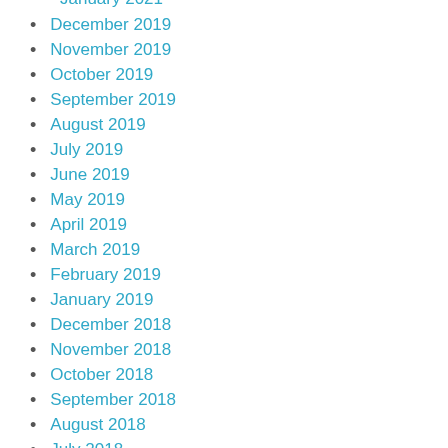January 2021 (partial, cut off at top)
December 2019
November 2019
October 2019
September 2019
August 2019
July 2019
June 2019
May 2019
April 2019
March 2019
February 2019
January 2019
December 2018
November 2018
October 2018
September 2018
August 2018
July 2018
June 2018
May 2018 (partial, cut off at bottom)